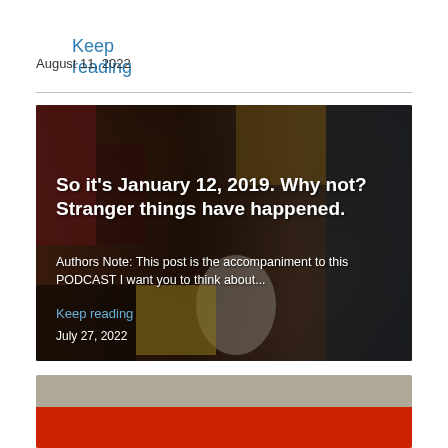Keep reading
August 11, 2022
[Figure (photo): Blog post card with background photo of collectible toys and figurines on a desk, overlaid with white text. Title: 'So it’s January 12, 2019. Why not? Stranger things have happened.' Excerpt: 'Authors Note: This post is the accompaniment to this PODCAST I want you to think about...' Link: 'Keep reading' Date: 'July 27, 2022']
[Figure (photo): Partial bottom card with reddish-orange banner text, cropped]